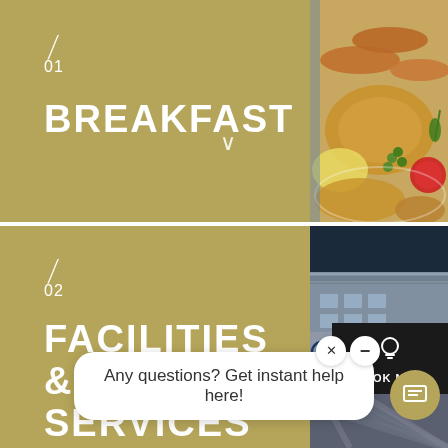[Figure (photo): Hotel breakfast menu section with golden/khaki background showing '01 BREAKFAST' text on left and food photo on right (sausages, fried items, peas, tomato, scrambled eggs on a plate)]
[Figure (photo): Hotel facilities and services section with golden/khaki background showing '02 FACILITIES & SERVICES' text on left and Daiwa Roynet Hotel exterior photo on right, with 'BOOK NOW' button overlay]
Any questions? Get instant help here!